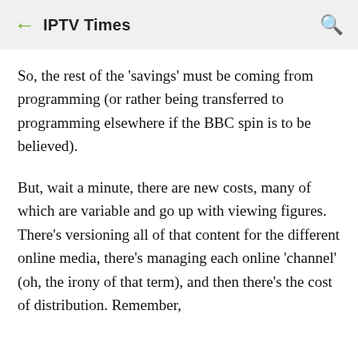IPTV Times
So, the rest of the 'savings' must be coming from programming (or rather being transferred to programming elsewhere if the BBC spin is to be believed).
But, wait a minute, there are new costs, many of which are variable and go up with viewing figures. There's versioning all of that content for the different online media, there's managing each online 'channel' (oh, the irony of that term), and then there's the cost of distribution. Remember,